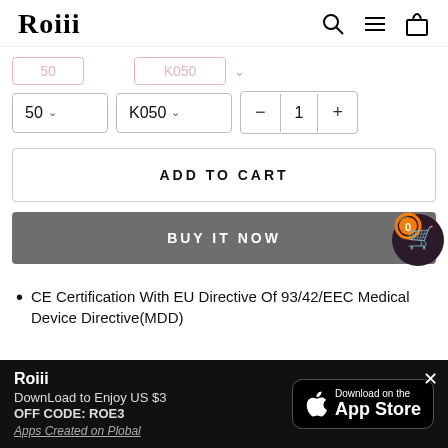Roiii
[Figure (screenshot): Product option selectors: size selector showing '50' with dropdown, variant selector showing 'K050' with dropdown, and quantity control showing minus, 1, plus buttons]
ADD TO CART
BUY IT NOW
CE Certification With EU Directive Of 93/42/EEC Medical Device Directive(MDD)
[Figure (infographic): App download banner: Roiii logo, text 'DownLoad to Enjoy US $3 OFF CODE: ROE3', Apps Created on Plobal link, and App Store download button]